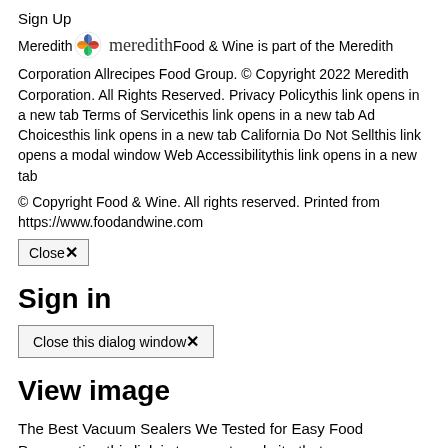Sign Up
Meredith [logo] Food & Wine is part of the Meredith Corporation Allrecipes Food Group. © Copyright 2022 Meredith Corporation. All Rights Reserved. Privacy Policythis link opens in a new tab Terms of Servicethis link opens in a new tab Ad Choicesthis link opens in a new tab California Do Not Sellthis link opens a modal window Web Accessibilitythis link opens in a new tab
© Copyright Food & Wine. All rights reserved. Printed from https://www.foodandwine.com
Close✕
Sign in
Close this dialog window✕
View image
The Best Vacuum Sealers We Tested for Easy Food Preservation this link is to an external site that may or may not meet accessibility guidelines.